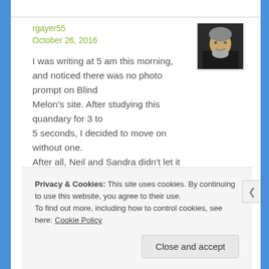rgayer55
October 26, 2016
[Figure (photo): Avatar photo of a man with grey beard in a dark jacket]
I was writing at 5 am this morning, and noticed there was no photo prompt on Blind Melon's site. After studying this quandary for 3 to 5 seconds, I decided to move on without one. After all, Neil and Sandra didn't let it stop them.

Glad it gave you a smile, Alicia.
Privacy & Cookies: This site uses cookies. By continuing to use this website, you agree to their use.
To find out more, including how to control cookies, see here: Cookie Policy
Close and accept